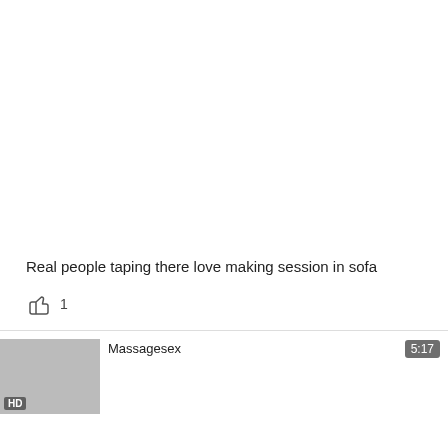Real people taping there love making session in sofa
👍 1
Massagesex
HD
5:17